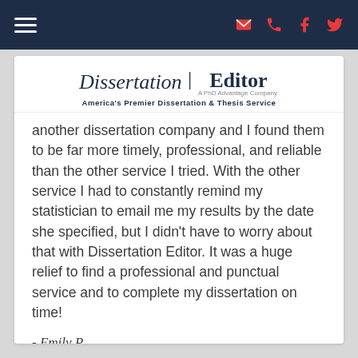[Figure (screenshot): Navigation bar with hamburger menu icon on the left, and email, phone, Facebook, Twitter icons on the right, all on a dark navy background]
[Figure (logo): Dissertation Editor logo — italic 'Dissertation' and bold 'Editor' with divider, 'A PhD Advantage Company' subtitle, 'America's Premier Dissertation & Thesis Service' tagline]
another dissertation company and I found them to be far more timely, professional, and reliable than the other service I tried. With the other service I had to constantly remind my statistician to email me my results by the date she specified, but I didn't have to worry about that with Dissertation Editor. It was a huge relief to find a professional and punctual service and to complete my dissertation on time!
- Emily P.